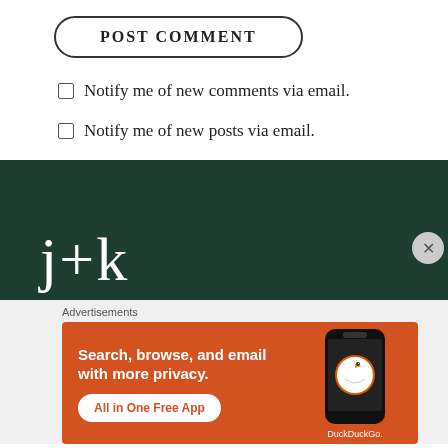POST COMMENT
Notify me of new comments via email.
Notify me of new posts via email.
[Figure (logo): j+k logo in white serif text on dark green background]
Advertisements
[Figure (screenshot): DuckDuckGo advertisement: 'Search, browse, and email with more privacy. All in One Free App' with phone graphic showing DuckDuckGo logo on orange/red background]